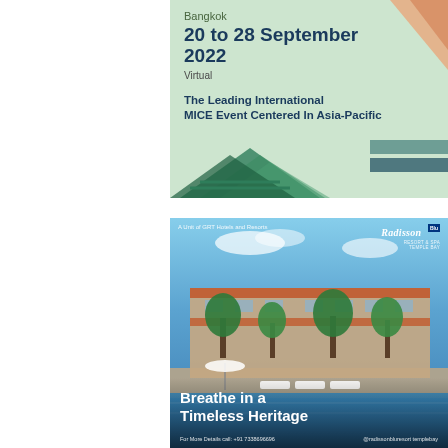[Figure (infographic): IBTM Asia Pacific event advertisement banner. Light green background with geometric shapes. Text: Bangkok, 20 to 28 September 2022, Virtual, The Leading International MICE Event Centered In Asia-Pacific. Features teal/navy geometric mountain shapes and orange triangle decorations.]
[Figure (infographic): Radisson Blu Resort Temple Bay hotel advertisement. Photo of hotel pool and building with palm trees and blue sky. Text: A Unit of GRT Hotels and Resorts, Radisson Blu logo, Breathe in a Timeless Heritage, For More Details call: +91 7338696696, @radissonbluresort templebay.]